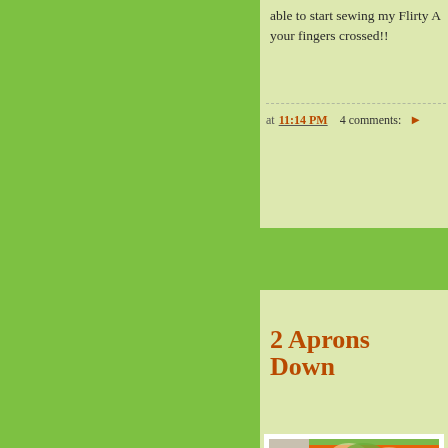able to start sewing my Flirty Apron... keep your fingers crossed!!
at 11:14 PM   4 comments:
2 Aprons Down
[Figure (photo): An orange and green floral apron displayed on a dress form/mannequin, showing bright orange lily flowers on white fabric with a green textured waistband and pocket]